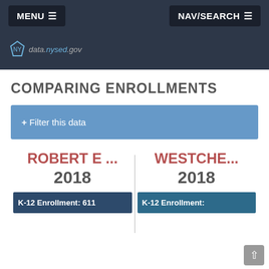MENU ≡   NAV/SEARCH ≡
[Figure (logo): data.nysed.gov logo with NY state icon on dark background]
COMPARING ENROLLMENTS
+ Filter this data
ROBERT E ...
2018
K-12 Enrollment: 611
WESTCHE...
2018
K-12 Enrollment: